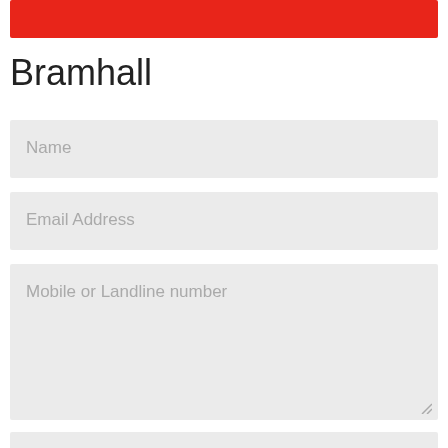[Figure (other): Red banner/header bar at the top of the page]
Bramhall
Name
Email Address
Mobile or Landline number
Postcode